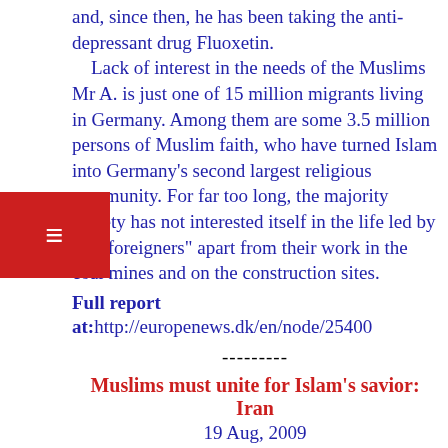and, since then, he has been taking the anti-depressant drug Fluoxetin.
    Lack of interest in the needs of the Muslims Mr A. is just one of 15 million migrants living in Germany. Among them are some 3.5 million persons of Muslim faith, who have turned Islam into Germany's second largest religious community. For far too long, the majority society has not interested itself in the life led by "the foreigners" apart from their work in the coal mines and on the construction sites.
Full report
at:http://europenews.dk/en/node/25400
---------
Muslims must unite for Islam's savior: Iran
19 Aug, 2009
Dubai, August 19: The spokesman of Iran's Supreme Leader called on neighboring countries